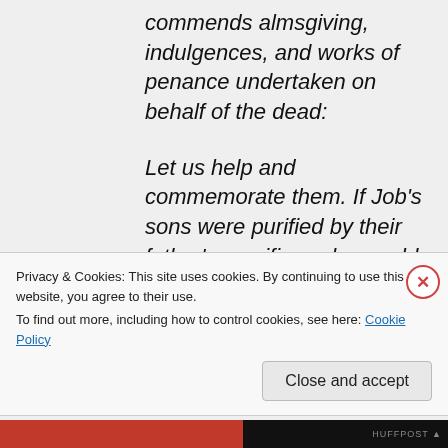commends almsgiving, indulgences, and works of penance undertaken on behalf of the dead:

Let us help and commemorate them. If Job's sons were purified by their father's sacrifice, why would we doubt that our offerings for the dead bring them
Privacy & Cookies: This site uses cookies. By continuing to use this website, you agree to their use.
To find out more, including how to control cookies, see here: Cookie Policy